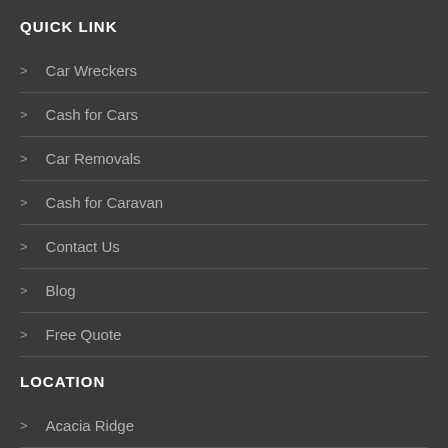QUICK LINK
Car Wreckers
Cash for Cars
Car Removals
Cash for Caravan
Contact Us
Blog
Free Quote
LOCATION
Acacia Ridge
Durack